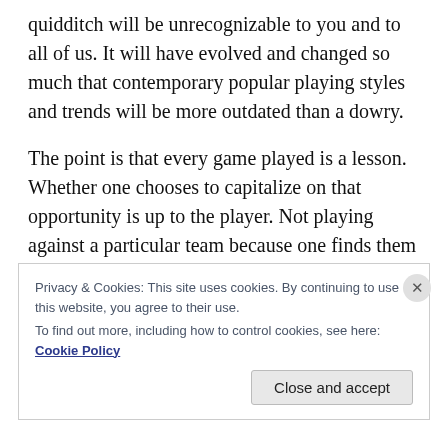quidditch will be unrecognizable to you and to all of us. It will have evolved and changed so much that contemporary popular playing styles and trends will be more outdated than a dowry.
The point is that every game played is a lesson. Whether one chooses to capitalize on that opportunity is up to the player. Not playing against a particular team because one finds them lacking—in experience, in athleticism, in anything at all—is pathetic, and such a mindset is shameful.
Privacy & Cookies: This site uses cookies. By continuing to use this website, you agree to their use.
To find out more, including how to control cookies, see here: Cookie Policy